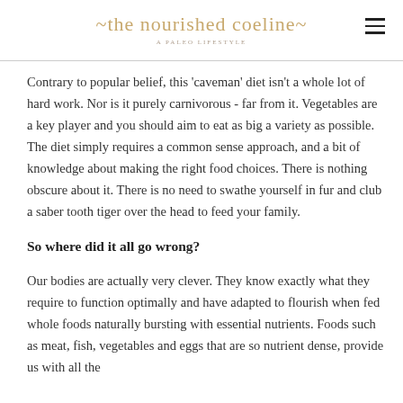the nourished coeline — a paleo lifestyle
Contrary to popular belief, this 'caveman' diet isn't a whole lot of hard work. Nor is it purely carnivorous - far from it. Vegetables are a key player and you should aim to eat as big a variety as possible. The diet simply requires a common sense approach, and a bit of knowledge about making the right food choices. There is nothing obscure about it. There is no need to swathe yourself in fur and club a saber tooth tiger over the head to feed your family.
So where did it all go wrong?
Our bodies are actually very clever. They know exactly what they require to function optimally and have adapted to flourish when fed whole foods naturally bursting with essential nutrients. Foods such as meat, fish, vegetables and eggs that are so nutrient dense, provide us with all the